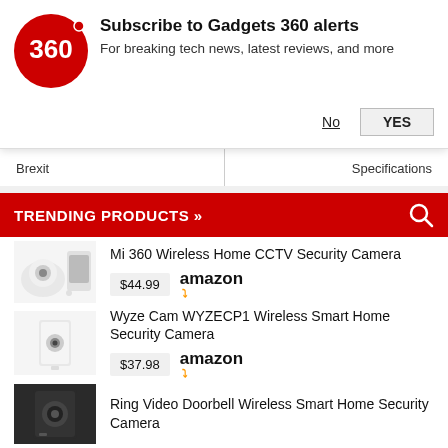[Figure (logo): Gadgets 360 logo — red circle with '360' text]
Subscribe to Gadgets 360 alerts
For breaking tech news, latest reviews, and more
No   YES
Brexit   Specifications
TRENDING PRODUCTS »
Mi 360 Wireless Home CCTV Security Camera
$44.99  amazon
Wyze Cam WYZECP1 Wireless Smart Home Security Camera
$37.98  amazon
Ring Video Doorbell Wireless Smart Home Security Camera